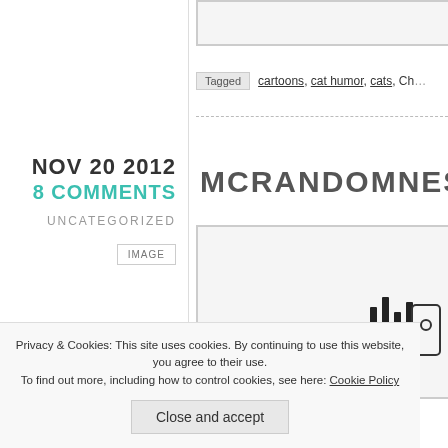[Figure (screenshot): Top portion of a blog webpage showing a cropped image placeholder at the top right]
Tagged   cartoons, cat humor, cats, Ch…
NOV 20 2012
8 COMMENTS
UNCATEGORIZED
IMAGE
MCRANDOMNESS
[Figure (illustration): Comic/cartoon illustration partially visible in content area]
Privacy & Cookies: This site uses cookies. By continuing to use this website, you agree to their use.
To find out more, including how to control cookies, see here: Cookie Policy
Close and accept